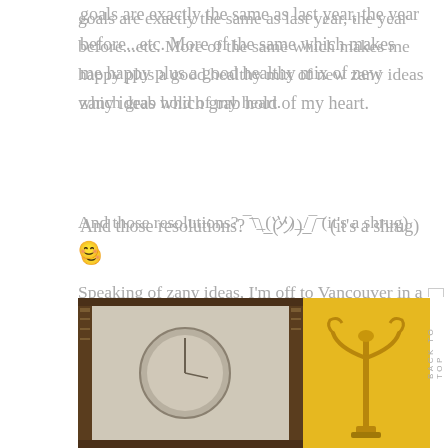goals are exactly the same as last year, the year before...etc. More of the same which makes me happy plus a good healthy mix of new zany ideas which grab hold of my heart.
And those resolutions? ¯\_(ツ)_/¯ (it's a shrug) 😊
Speaking of zany ideas, I'm off to Vancouver in a couple of days and it'll be time for the first of many giveaways. (just going to sleep off the jet-lag first)
Come on lucky 2013...bring it on!
[Figure (photo): Decorative framed artwork with clock or circular motif on left, and ornate golden candelabra or decorative metal piece against yellow background on right.]